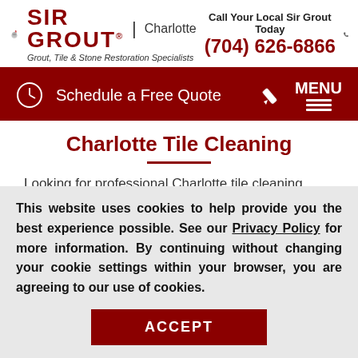[Figure (logo): Sir Grout knight logo with quill pen, wordmark SIR GROUT Charlotte, Grout, Tile & Stone Restoration Specialists tagline]
Call Your Local Sir Grout Today
(704) 626-6866
[Figure (infographic): Dark red navigation bar with clock icon, Schedule a Free Quote text, pencil icon, MENU with horizontal lines icon]
Charlotte Tile Cleaning
Looking for professional Charlotte tile cleaning company to bring appeal to your dingy tiles...
This website uses cookies to help provide you the best experience possible. See our Privacy Policy for more information. By continuing without changing your cookie settings within your browser, you are agreeing to our use of cookies.
ACCEPT